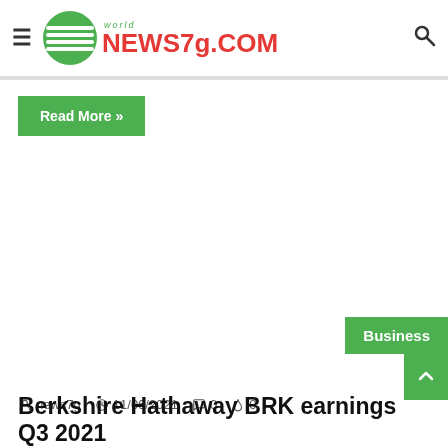world NEWS7g.COM
Read More »
Business
news7g  11/06/2021  0  0
Berkshire Hathaway BRK earnings Q3 2021